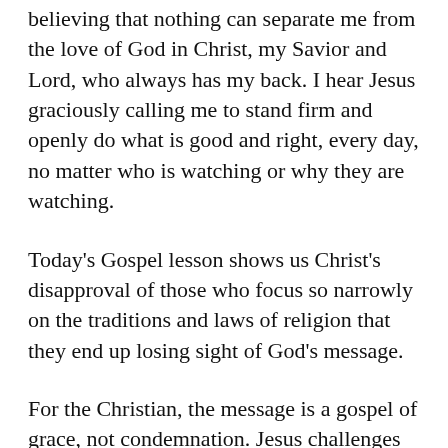believing that nothing can separate me from the love of God in Christ, my Savior and Lord, who always has my back. I hear Jesus graciously calling me to stand firm and openly do what is good and right, every day, no matter who is watching or why they are watching.
Today's Gospel lesson shows us Christ's disapproval of those who focus so narrowly on the traditions and laws of religion that they end up losing sight of God's message.
For the Christian, the message is a gospel of grace, not condemnation. Jesus challenges the legalistic way of keeping the Sabbath holy